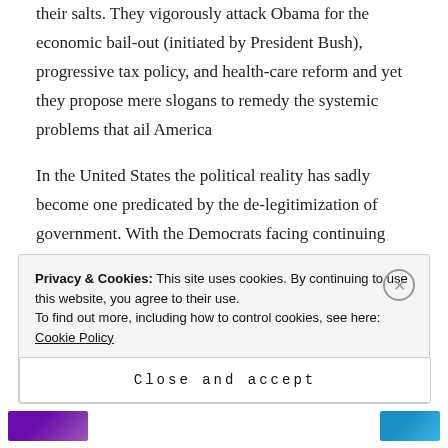their salts. They vigorously attack Obama for the economic bail-out (initiated by President Bush), progressive tax policy, and health-care reform and yet they propose mere slogans to remedy the systemic problems that ail America
In the United States the political reality has sadly become one predicated by the de-legitimization of government. With the Democrats facing continuing political defeats, Mr. Obama's reasonable agenda is unlikely to be implemented. Fresh off the heels of victory, the Republican Party, enjoying the taste of
Privacy & Cookies: This site uses cookies. By continuing to use this website, you agree to their use. To find out more, including how to control cookies, see here: Cookie Policy
Close and accept